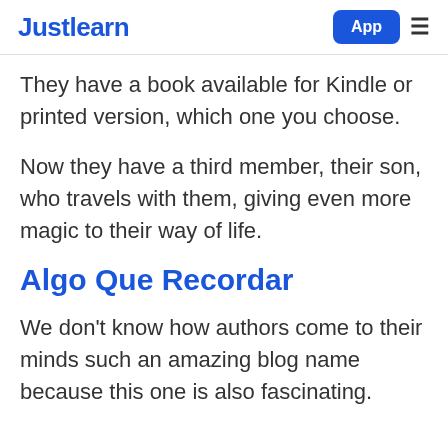Justlearn | App
They have a book available for Kindle or printed version, which one you choose.
Now they have a third member, their son, who travels with them, giving even more magic to their way of life.
Algo Que Recordar
We don't know how authors come to their minds such an amazing blog name because this one is also fascinating.